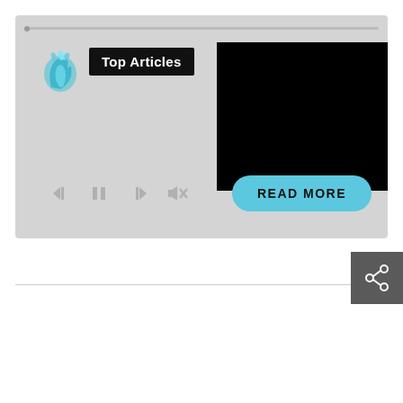[Figure (screenshot): A media player widget with light gray background. Contains a cyan/blue dragon flame logo in upper left, a black label 'Top Articles', a black rectangular video/image area on the right side, media control icons (skip back, pause, skip forward, mute) at the bottom left, and a cyan 'READ MORE' pill button at the bottom right.]
[Figure (screenshot): A dark gray square button with a share icon (circle nodes connected by lines) in white, positioned in the lower right area of the page.]